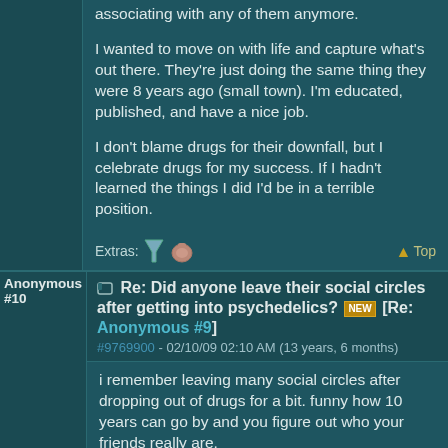associating with any of them anymore.

I wanted to move on with life and capture what's out there. They're just doing the same thing they were 8 years ago (small town). I'm educated, published, and have a nice job.

I don't blame drugs for their downfall, but I celebrate drugs for my success. If I hadn't learned the things I did I'd be in a terrible position.
Extras: [icons] Top
Anonymous #10
Re: Did anyone leave their social circles after getting into psychedelics? [NEW] [Re: Anonymous #9]
#9769900 - 02/10/09 02:10 AM (13 years, 6 months)
i remember leaving many social circles after dropping out of drugs for a bit. funny how 10 years can go by and you figure out who your friends really are.

the ones that stick with you, drugs or no drugs